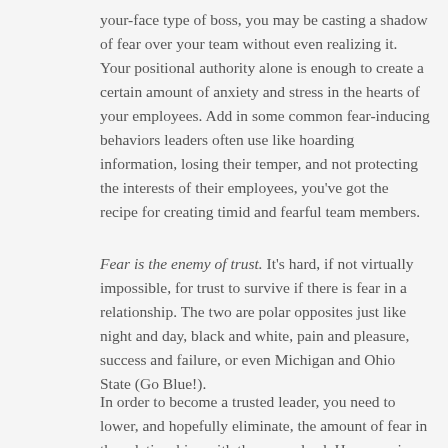your-face type of boss, you may be casting a shadow of fear over your team without even realizing it. Your positional authority alone is enough to create a certain amount of anxiety and stress in the hearts of your employees. Add in some common fear-inducing behaviors leaders often use like hoarding information, losing their temper, and not protecting the interests of their employees, you've got the recipe for creating timid and fearful team members.
Fear is the enemy of trust. It's hard, if not virtually impossible, for trust to survive if there is fear in a relationship. The two are polar opposites just like night and day, black and white, pain and pleasure, success and failure, or even Michigan and Ohio State (Go Blue!).
In order to become a trusted leader, you need to lower, and hopefully eliminate, the amount of fear in the relationships with those you lead. Here are six ways to lower fear and